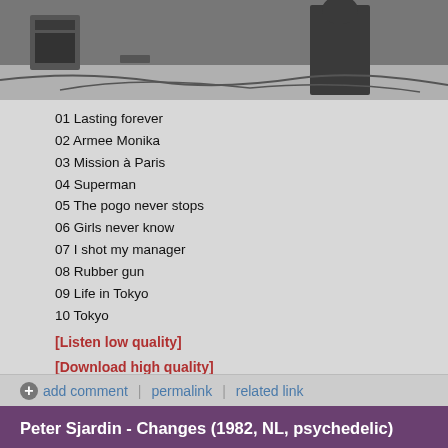[Figure (photo): Black and white photo of a person on stage with cables/equipment visible on the floor]
01 Lasting forever
02 Armee Monika
03 Mission à Paris
04 Superman
05 The pogo never stops
06 Girls never know
07 I shot my manager
08 Rubber gun
09 Life in Tokyo
10 Tokyo
11 Instrumental
12 Goodbye radio
13 So many possibilities
[Listen low quality]
[Download high quality]
add comment  |  permalink  |  related link
Peter Sjardin - Changes (1982, NL, psychedelic)
Tuesday, March 10, 2020, 11:40 PM - Music, - NL, English
Cassette recording of a never released lp for Universe (LS54) by Peter Sjardin (Group). Test pressings were made in a white sleeve. The last 7 minutes are missing, they didn't fit on the compact tape... So there still remains something to long for.
Peter solo on the 'organizer'.